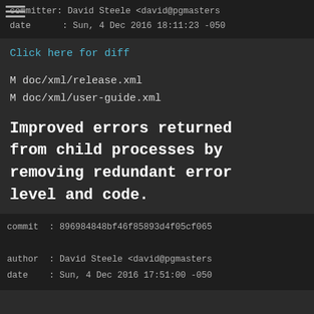committer: David Steele <david@pgmasters
date      : Sun, 4 Dec 2016 18:11:23 -050
Click here for diff
M doc/xml/release.xml
M doc/xml/user-guide.xml
Improved errors returned from child processes by removing redundant error level and code.
commit  : 896984848bf46f85893d4f05cf065

author  : David Steele <david@pgmasters
date    : Sun, 4 Dec 2016 17:51:00 -050